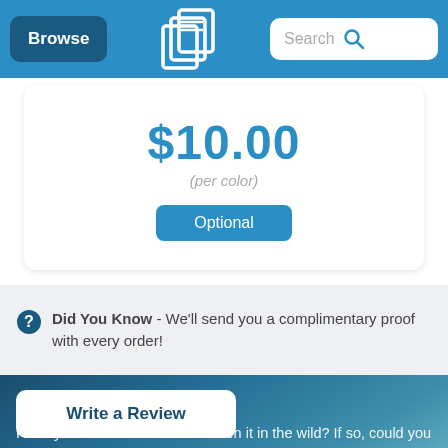Browse | [Logo] | Search
$10.00
(per color)
Optional
Did You Know - We'll send you a complimentary proof with every order!
We Need Your Help!
Have you ordered this item or seen it in the wild? If so, could you do everyone a solid and share your thoughts? Please? Pretty please?
Write a Review